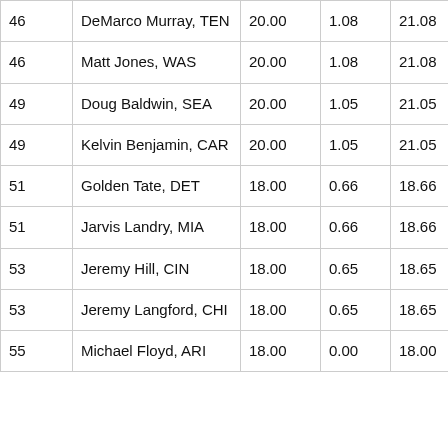| 46 | DeMarco Murray, TEN | 20.00 | 1.08 | 21.08 |
| 46 | Matt Jones, WAS | 20.00 | 1.08 | 21.08 |
| 49 | Doug Baldwin, SEA | 20.00 | 1.05 | 21.05 |
| 49 | Kelvin Benjamin, CAR | 20.00 | 1.05 | 21.05 |
| 51 | Golden Tate, DET | 18.00 | 0.66 | 18.66 |
| 51 | Jarvis Landry, MIA | 18.00 | 0.66 | 18.66 |
| 53 | Jeremy Hill, CIN | 18.00 | 0.65 | 18.65 |
| 53 | Jeremy Langford, CHI | 18.00 | 0.65 | 18.65 |
| 55 | Michael Floyd, ARI | 18.00 | 0.00 | 18.00 |